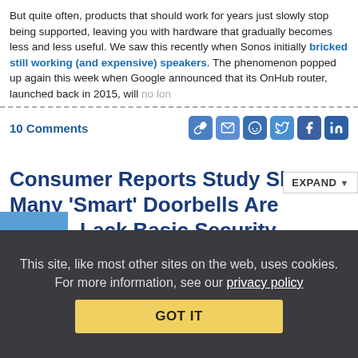But quite often, products that should work for years just slowly stop being supported, leaving you with hardware that gradually becomes less and less useful. We saw this recently when Sonos initially bricked still working (and expensive) speakers. The phenomenon popped up again this week when Google announced that its OnHub router, launched back in 2015, will no lon…
10 Comments
Consumer Reports Study Shows Many 'Smart' Doorbells Are Dumb, Lack Basic Security
from the dumber-is-better dept
This site, like most other sites on the web, uses cookies. For more information, see our privacy policy